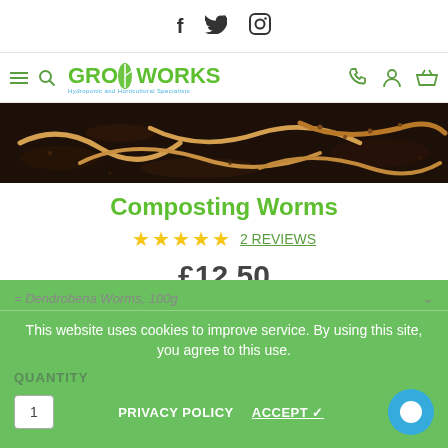f  Twitter  Instagram (social icons)
[Figure (logo): GROworks hydroponics and horticulture logo with hamburger menu and search icon on left, phone, user, and basket icons on right]
[Figure (photo): Close-up photo of composting worms in dark soil]
Composting Worms
★★★★★  2 REVIEWS
£12.50
or 4 interest-free payments of £3.13 with  clearpay  ⓘ
= Dendrobena Worms, 100g
This website uses cookies to improve service. By using this site, you agree to this use.
QUANTITY
1   PRIVACY POLICY   ACCEPT ✓